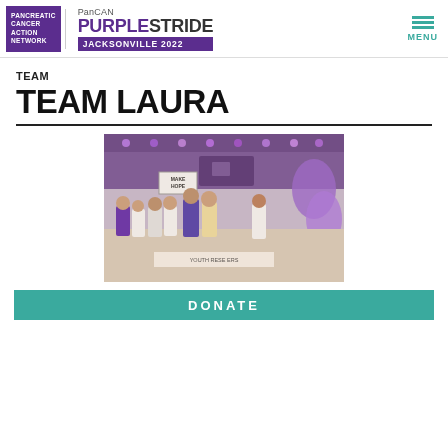PanCAN PurpleStride Jacksonville 2022 — PANCREATIC CANCER ACTION NETWORK
TEAM
TEAM LAURA
[Figure (photo): Group of people standing in front of a stage with purple balloon ribbon decoration at a PurpleStride event. A sign reading 'MAKE HOPE' is visible on stage. Participants are wearing purple and white t-shirts.]
DONATE